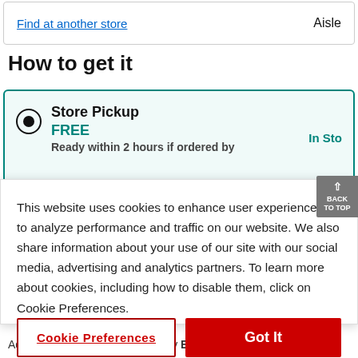Find at another store | Aisle
How to get it
Store Pickup FREE In Stock Ready within 2 hours if ordered by
This website uses cookies to enhance user experience and to analyze performance and traffic on our website. We also share information about your use of our site with our social media, advertising and analytics partners. To learn more about cookies, including how to disable them, click on Cookie Preferences.
Cookie Preferences | Got It
Add accident protection offered by Extend ?